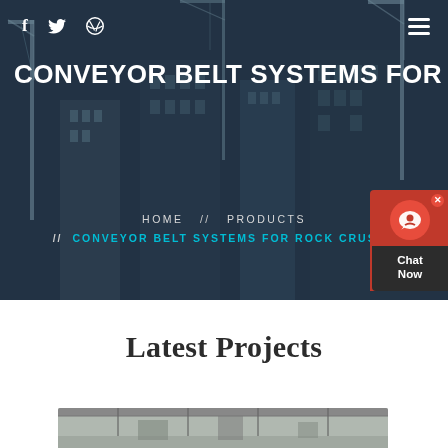[Figure (photo): Hero background photo of construction site with cranes and city buildings, overlaid with dark blue tint]
f  [twitter icon]  [dribbble icon]  [hamburger menu]
CONVEYOR BELT SYSTEMS FOR R...
HOME  //  PRODUCTS
//  CONVEYOR BELT SYSTEMS FOR ROCK CRUSHE...
[Figure (screenshot): Chat Now widget — red circular chat icon on red background, with dark Chat Now label below]
Latest Projects
[Figure (photo): Partial view of industrial/warehouse interior image at bottom of page]